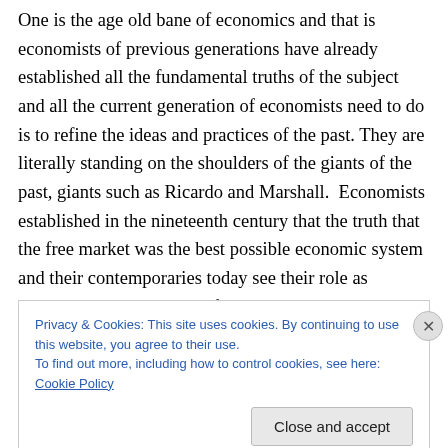One is the age old bane of economics and that is economists of previous generations have already established all the fundamental truths of the subject and all the current generation of economists need to do is to refine the ideas and practices of the past. They are literally standing on the shoulders of the giants of the past, giants such as Ricardo and Marshall.  Economists established in the nineteenth century that the truth that the free market was the best possible economic system and their contemporaries today see their role as providing the necessary information and advice to enable policy makers
Privacy & Cookies: This site uses cookies. By continuing to use this website, you agree to their use.
To find out more, including how to control cookies, see here: Cookie Policy
Close and accept